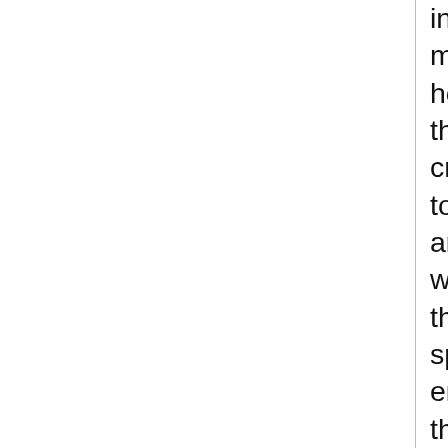instantaneous, magic holds the creation together, and when the spell ends, the conjured creature or object vanishes without a trace. If the spell has an instantaneous duration, the created object or creature is merely assembled through magic. It lasts indefinitely and does not depend on magic for its existence.
Healing: Certain divine conjurations heal creatures or